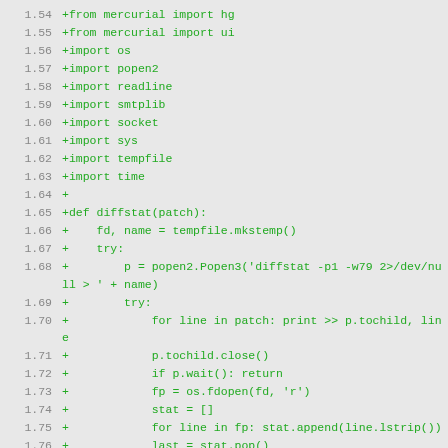1.54  +from mercurial import hg
1.55  +from mercurial import ui
1.56  +import os
1.57  +import popen2
1.58  +import readline
1.59  +import smtplib
1.60  +import socket
1.61  +import sys
1.62  +import tempfile
1.63  +import time
1.64  +
1.65  +def diffstat(patch):
1.66  +    fd, name = tempfile.mkstemp()
1.67  +    try:
1.68  +        p = popen2.Popen3('diffstat -p1 -w79 2>/dev/null > ' + name)
1.69  +        try:
1.70  +            for line in patch: print >> p.tochild, line
1.71  +            p.tochild.close()
1.72  +            if p.wait(): return
1.73  +            fp = os.fdopen(fd, 'r')
1.74  +            stat = []
1.75  +            for line in fp: stat.append(line.lstrip())
1.76  +            last = stat.pop()
1.77  +            stat.insert(0, last)